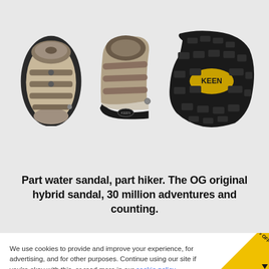[Figure (photo): Three views of a KEEN sandal: top-down view of sandal from above, side profile view, and bottom sole view showing KEEN branding in yellow on black rubber sole with tread pattern]
Part water sandal, part hiker. The OG original hybrid sandal, 30 million adventures and counting.
We use cookies to provide and improve your experience, for advertising, and for other purposes. Continue using our site if you're okay with this, or read more in our cookie policy.